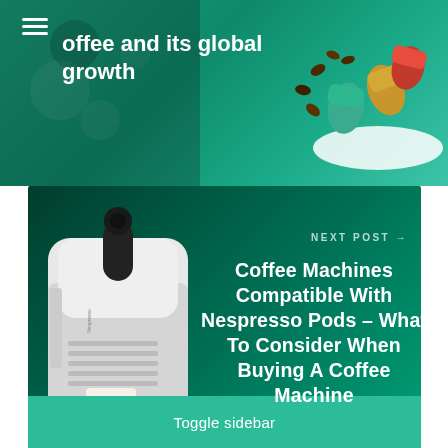[Figure (screenshot): Top banner with teal/green gradient background showing partial text about coffee and its global growth, with hamburger menu icon on left and coffee capsules/pods image on right]
coffee and its global growth
[Figure (photo): Dark teal gradient panel showing a white Nespresso coffee machine on the left with a cup of coffee, and text on the right reading NEXT POST with arrow, followed by the title Coffee Machines Compatible With Nespresso Pods – What To Consider When Buying A Coffee Machine]
NEXT POST →
Coffee Machines Compatible With Nespresso Pods – What To Consider When Buying A Coffee Machine
Toggle sidebar